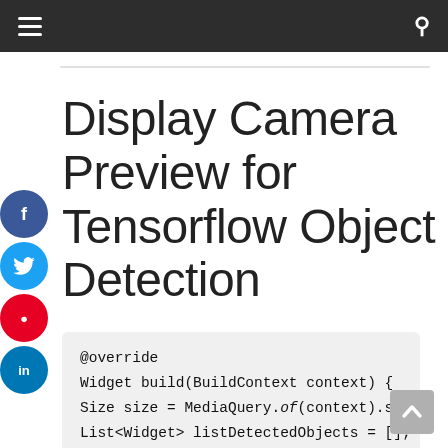≡  [nav bar]  🔍
Display Camera Preview for Tensorflow Object Detection
@override
Widget build(BuildContext context) {
Size size = MediaQuery.of(context).size;
List<Widget> listDetectedObjects = [];

listDetectedObjects.add(…